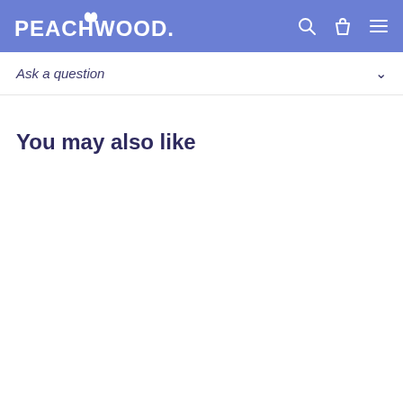PEACHWOOD
Ask a question
You may also like